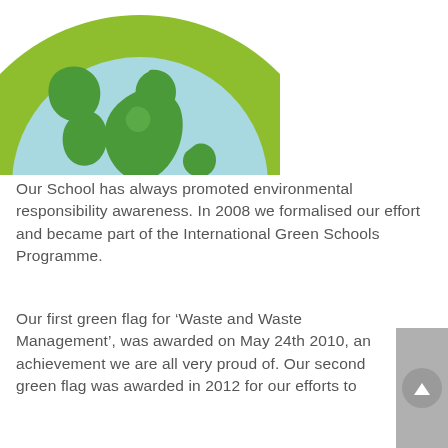[Figure (illustration): Globe illustration with light blue ocean and green continents, set on a bright yellow-green circular background. Only the top portion of the globe/circle is visible, cropped at the top of the page.]
Our School has always promoted environmental responsibility awareness. In 2008 we formalised our effort and became part of the International Green Schools Programme.
Our first green flag for ‘Waste and Waste Management’, was awarded on May 24th 2010, an achievement we are all very proud of. Our second green flag was awarded in 2012 for our efforts to